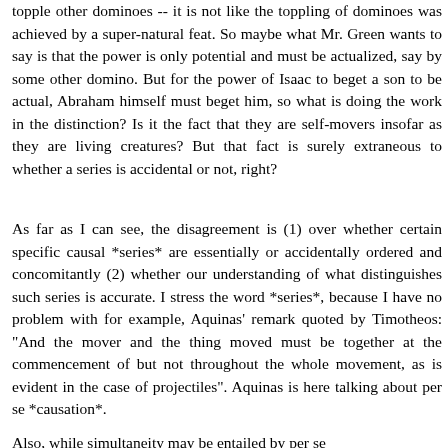topple other dominoes -- it is not like the toppling of dominoes was achieved by a super-natural feat. So maybe what Mr. Green wants to say is that the power is only potential and must be actualized, say by some other domino. But for the power of Isaac to beget a son to be actual, Abraham himself must beget him, so what is doing the work in the distinction? Is it the fact that they are self-movers insofar as they are living creatures? But that fact is surely extraneous to whether a series is accidental or not, right?
As far as I can see, the disagreement is (1) over whether certain specific causal *series* are essentially or accidentally ordered and concomitantly (2) whether our understanding of what distinguishes such series is accurate. I stress the word *series*, because I have no problem with for example, Aquinas' remark quoted by Timotheos: "And the mover and the thing moved must be together at the commencement of but not throughout the whole movement, as is evident in the case of projectiles". Aquinas is here talking about per se *causation*.
Also, while simultaneity may be entailed by per se